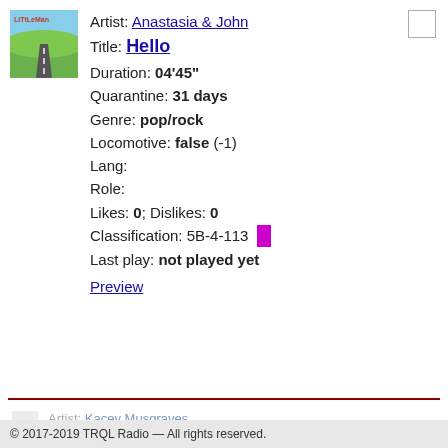[Figure (illustration): Little Man album art - green hills landscape with road]
Artist: Anastasia & John
Title: Hello
Duration: 04'45"
Quarantine: 31 days
Genre: pop/rock
Locomotive: false (-1)
Lang:
Role:
Likes: 0; Dislikes: 0
Classification: 5B-4-113
Last play: not played yet
Preview
Artist: Kacey Musgraves
Title: Lonely Weekend
© 2017-2019 TRQL Radio — All rights reserved.